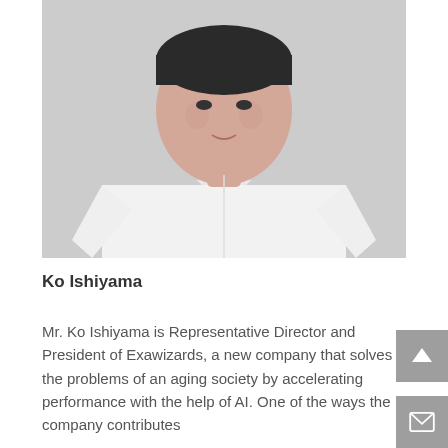[Figure (photo): Headshot of Ko Ishiyama, a man in a white long-sleeve button-up shirt against a light gray background, cropped from shoulders up]
Ko Ishiyama
Mr. Ko Ishiyama is Representative Director and President of Exawizards, a new company that solves the problems of an aging society by accelerating performance with the help of AI. One of the ways the company contributes